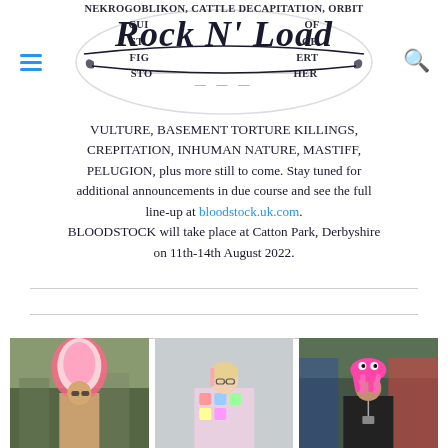NEKROGOBLIKON, CATTLE DECAPITATION, ORBIT CUI ... OF ST... GE FIG... ERT STO... HER
[Figure (logo): Rock N' Load logo in decorative serif/display typeface, dark navy/black]
VULTURE, BASEMENT TORTURE KILLINGS, CREPITATION, INHUMAN NATURE, MASTIFF, PELUGION, plus more still to come. Stay tuned for additional announcements in due course and see the full line-up at bloodstock.uk.com. BLOODSTOCK will take place at Catton Park, Derbyshire on 11th-14th August 2022.
[Figure (photo): Person wearing a colorful feathered Native American-style headdress at a festival]
[Figure (photo): Woman with pink-streaked hair wearing a colorful vest, standing indoors]
[Figure (photo): Person wearing a bright pink squid/octopus hat at an outdoor festival]